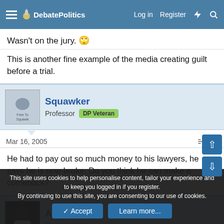DebatePolitics | Log in | Register
Wasn't on the jury. 🙄
This is another fine example of the media creating guilt before a trial.
Squawker
Professor  DP Veteran
Mar 16, 2005  #4
He had to pay out so much money to his lawyers, he says he is now broke. Do you think he can make a comeback?
Argonaut
New member
This site uses cookies to help personalise content, tailor your experience and to keep you logged in if you register.
By continuing to use this site, you are consenting to our use of cookies.